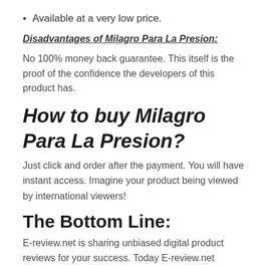Available at a very low price.
Disadvantages of Milagro Para La Presion:
No 100% money back guarantee. This itself is the proof of the confidence the developers of this product has.
How to buy Milagro Para La Presion?
Just click and order after the payment. You will have instant access. Imagine your product being viewed by international viewers!
The Bottom Line:
E-review.net is sharing unbiased digital product reviews for your success. Today E-review.net product analysis